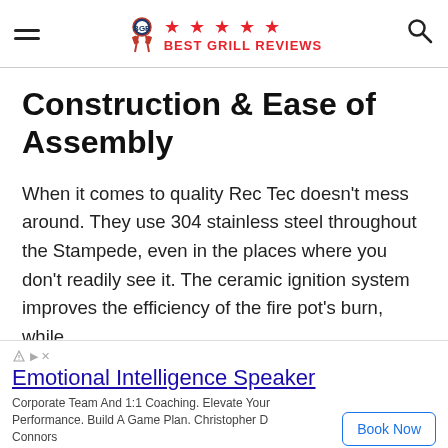Best Grill Reviews
Construction & Ease of Assembly
When it comes to quality Rec Tec doesn't mess around. They use 304 stainless steel throughout the Stampede, even in the places where you don't readily see it. The ceramic ignition system improves the efficiency of the fire pot's burn, while PID control system adjusts for accuracy.
[Figure (other): Advertisement for Emotional Intelligence Speaker - Corporate Team And 1:1 Coaching. Elevate Your Performance. Build A Game Plan. Christopher D Connors. Book Now button.]